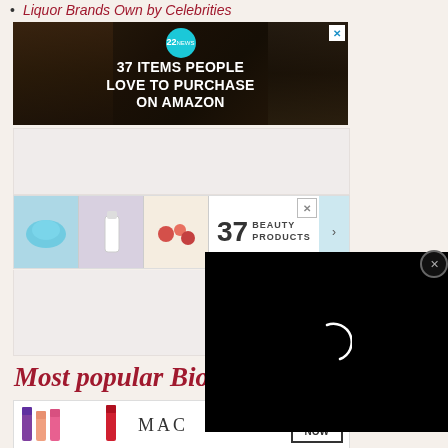Liquor Brands Own by Celebrities
[Figure (screenshot): Amazon advertisement: '37 ITEMS PEOPLE LOVE TO PURCHASE ON AMAZON' with dark background showing kitchen knives and food items, and a teal circular badge with '22']
[Figure (screenshot): Beauty products advertisement with product images and '37 BEAUTY PRODUCTS' text, partially covered by video player overlay showing loading spinner on black background with close button]
Most popular Bios
[Figure (screenshot): MAC cosmetics advertisement showing lipsticks and 'SHOP NOW' button]